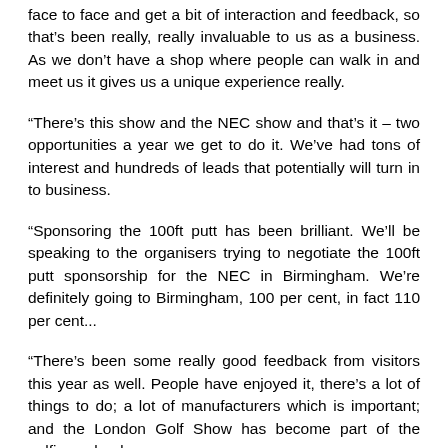face to face and get a bit of interaction and feedback, so that's been really, really invaluable to us as a business. As we don't have a shop where people can walk in and meet us it gives us a unique experience really.
“There’s this show and the NEC show and that’s it – two opportunities a year we get to do it. We’ve had tons of interest and hundreds of leads that potentially will turn in to business.
“Sponsoring the 100ft putt has been brilliant. We’ll be speaking to the organisers trying to negotiate the 100ft putt sponsorship for the NEC in Birmingham. We’re definitely going to Birmingham, 100 per cent, in fact 110 per cent...
“There’s been some really good feedback from visitors this year as well. People have enjoyed it, there’s a lot of things to do; a lot of manufacturers which is important; and the London Golf Show has become part of the golfing calendar.